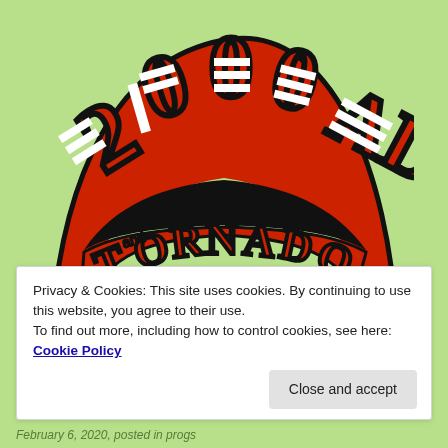[Figure (logo): 2000 AD and Tornado comic logo — bold red arched lettering spelling '2000 AD' on top and 'TORNADO' curved below, with black outlines and white stripe details, hand-drawn style on light green background]
Privacy & Cookies: This site uses cookies. By continuing to use this website, you agree to their use.
To find out more, including how to control cookies, see here: Cookie Policy
Close and accept
February 6, 2020, posted in progs